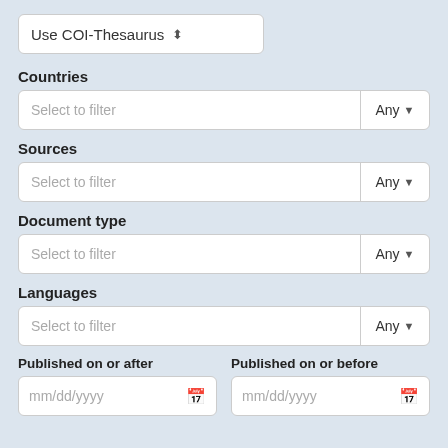[Figure (screenshot): Dropdown selector showing 'Use COI-Thesaurus' with up/down arrows]
Countries
[Figure (screenshot): Filter input with placeholder 'Select to filter' and 'Any' dropdown button for Countries]
Sources
[Figure (screenshot): Filter input with placeholder 'Select to filter' and 'Any' dropdown button for Sources]
Document type
[Figure (screenshot): Filter input with placeholder 'Select to filter' and 'Any' dropdown button for Document type]
Languages
[Figure (screenshot): Filter input with placeholder 'Select to filter' and 'Any' dropdown button for Languages]
Published on or after
Published on or before
[Figure (screenshot): Date input showing mm/dd/yyyy with calendar icon for 'Published on or after']
[Figure (screenshot): Date input showing mm/dd/yyyy with calendar icon for 'Published on or before']